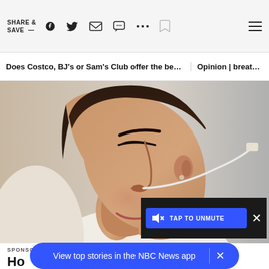SHARE & SAVE —
Does Costco, BJ's or Sam's Club offer the best... | Opinion | breathtaki
[Figure (photo): Side profile of a woman with dark hair wearing a white shirt, with a nasal cannula (oxygen tube) inserted in her nose. Background is blurred grey/beige.]
TAP TO UNMUTE
SPONSORED / OXYGEN CONCENTRATOR | SEAR
Ho Concentrator Cost? Could Surprise
View top stories in the NBC News app